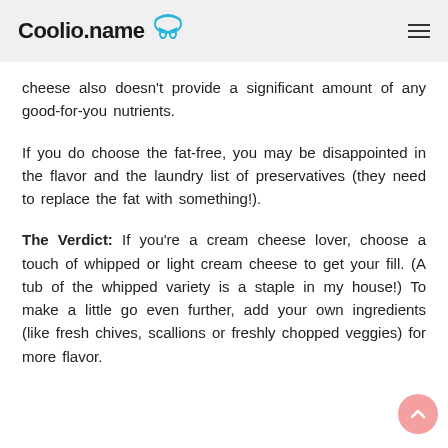Coolio.name
cheese also doesn't provide a significant amount of any good-for-you nutrients.
If you do choose the fat-free, you may be disappointed in the flavor and the laundry list of preservatives (they need to replace the fat with something!).
The Verdict: If you're a cream cheese lover, choose a touch of whipped or light cream cheese to get your fill. (A tub of the whipped variety is a staple in my house!) To make a little go even further, add your own ingredients (like fresh chives, scallions or freshly chopped veggies) for more flavor.